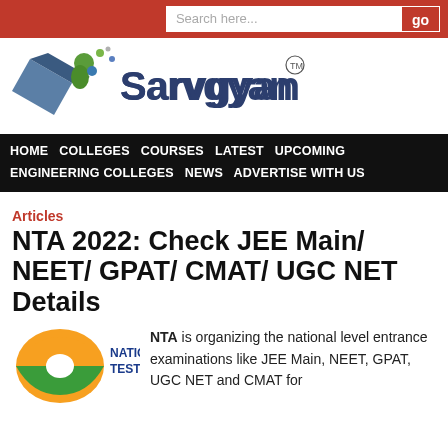Search here...   go
[Figure (logo): Sarvgyan logo with icon and text 'Sarvgyan TM']
HOME   COLLEGES   COURSES   LATEST   UPCOMING   ENGINEERING COLLEGES   NEWS   ADVERTISE WITH US
Articles
NTA 2022: Check JEE Main/ NEET/ GPAT/ CMAT/ UGC NET Details
[Figure (logo): National Testing Agency logo with orange and green design, text NATIONAL TESTING in blue]
NTA is organizing the national level entrance examinations like JEE Main, NEET, GPAT, UGC NET and CMAT for